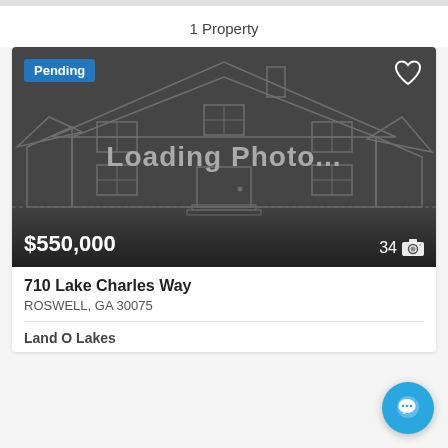1 Property
[Figure (screenshot): Property listing card showing a dark placeholder image with house outline graphic, 'Loading Photo...' text, 'Pending' badge in blue, heart icon, price $550,000, and photo count 34 with camera icon]
710 Lake Charles Way
ROSWELL, GA 30075
Land O Lakes